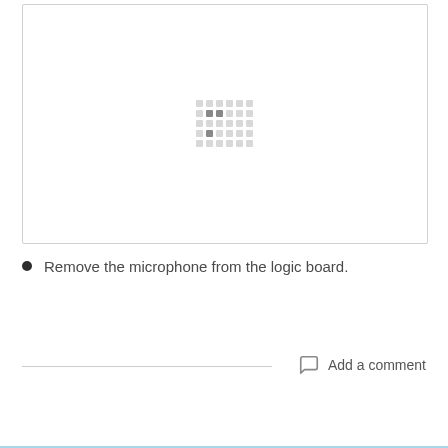[Figure (photo): Large image box with a loading placeholder (dot grid pattern) centered in the box. The image area has a light gray border and white background.]
Remove the microphone from the logic board.
Add a comment